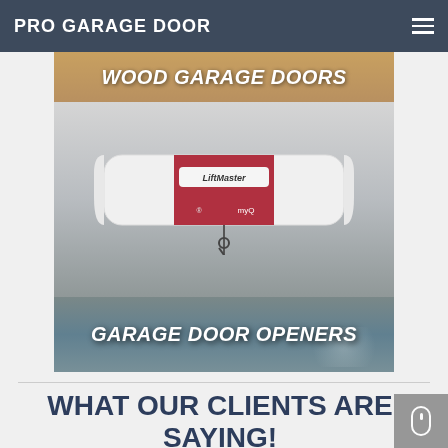PRO GARAGE DOOR
[Figure (photo): Composite image showing Wood Garage Doors text at top, a LiftMaster garage door opener unit in the middle, and 'GARAGE DOOR OPENERS' text overlay at the bottom with blurred outdoor background]
WHAT OUR CLIENTS ARE SAYING!